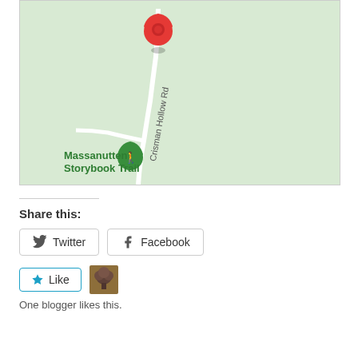[Figure (map): Google Maps style map showing Crisman Hollow Rd with a red location pin marker near the top, and a green hiking trail marker for Massanutten Storybook Trail near the bottom left. The map background is light green indicating forested/parkland area.]
Share this:
Twitter
Facebook
Like
One blogger likes this.